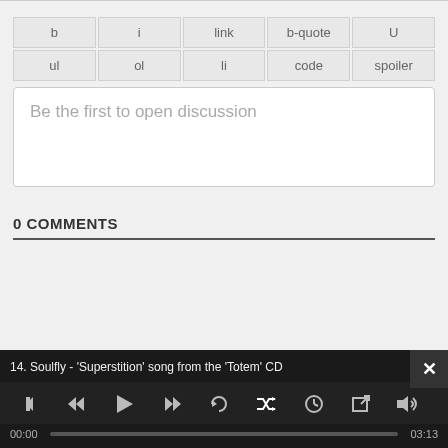| b | i | link | b-quote | U | ul | ol | li | code | spoiler |
| --- | --- | --- | --- | --- | --- | --- | --- | --- | --- |
Be the first to open discussion
0 COMMENTS
14. Soulfly - 'Superstition' song from the 'Totem' CD
00:00   03:13